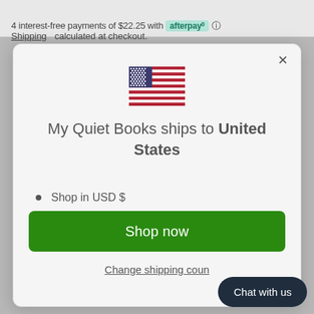4 interest-free payments of $22.25 with afterpay
Shipping calculated at checkout.
[Figure (illustration): US flag icon]
My Quiet Books ships to United States
Shop in USD $
Get shipping options for United States
Shop now
Change shipping country
Chat with us